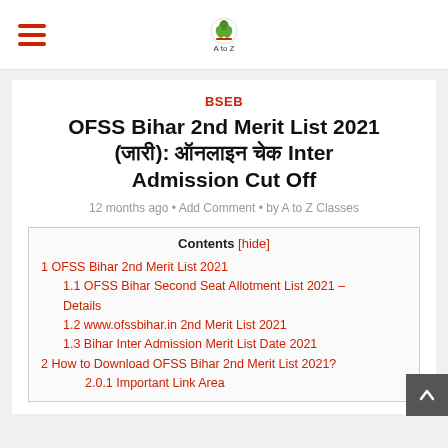A to Z Classes — navigation header with hamburger menu and logo
BSEB
OFSS Bihar 2nd Merit List 2021 (जारी): ऑनलाइन चेक Inter Admission Cut Off
12 months ago • Add Comment • by A to Z Classes
Contents [hide]
1 OFSS Bihar 2nd Merit List 2021
1.1 OFSS Bihar Second Seat Allotment List 2021 – Details
1.2 www.ofssbihar.in 2nd Merit List 2021
1.3 Bihar Inter Admission Merit List Date 2021
2 How to Download OFSS Bihar 2nd Merit List 2021?
2.0.1 Important Link Area